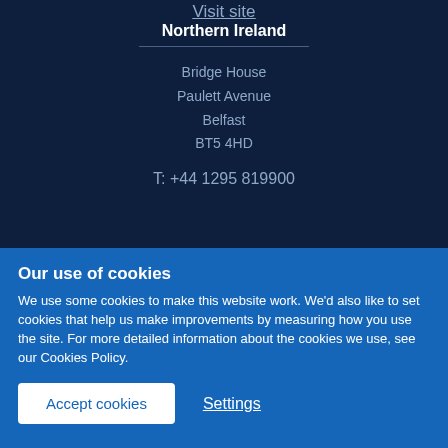Visit site
Northern Ireland
Bridge House
Paulett Avenue
Belfast
BT5 4HD
T: +44 1295 819900
Our use of cookies
We use some cookies to make this website work. We'd also like to set cookies that help us make improvements by measuring how you use the site. For more detailed information about the cookies we use, see our Cookies Policy.
Accept cookies
Settings